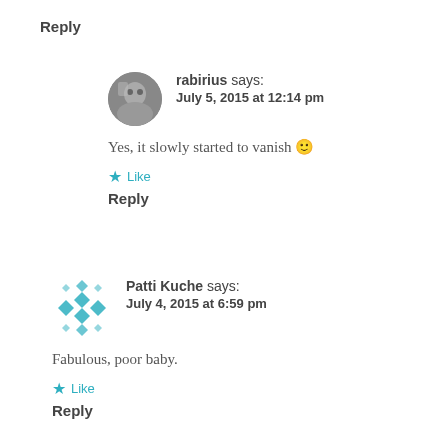Reply
rabirius says: July 5, 2015 at 12:14 pm
Yes, it slowly started to vanish 🙂
★ Like
Reply
Patti Kuche says: July 4, 2015 at 6:59 pm
Fabulous, poor baby.
★ Like
Reply